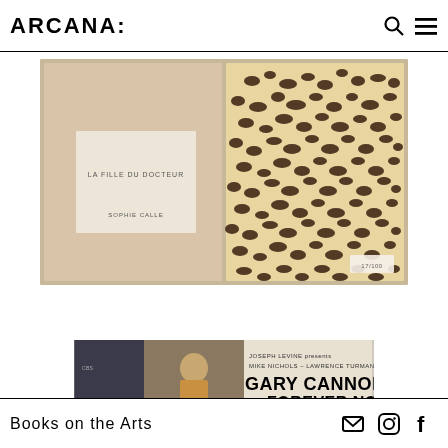ARCANA:
[Figure (photo): An open box/slipcase containing two books: left one has a beige/tan cover with text 'LA FILLE DU DOCTEUR' and 'SOPHIE CALLE'; right one has a leopard print (animal pattern) cover. A small white label is visible in the lower right corner of the box.]
[Figure (photo): Partial view of a book or album cover: 'JOSEPH LEVINE presents MIKE NICHOLS - LAWRENCE TURMAN GARY CANNONE FOREVER NOW Essay by Jamillah James' with a black and white photo of a young man.]
Books on the Arts